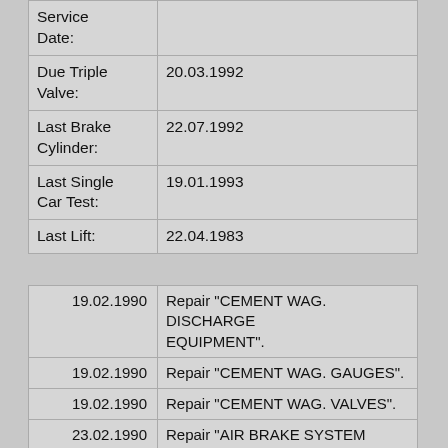| Field | Value |
| --- | --- |
| Service Date: |  |
| Due Triple Valve: | 20.03.1992 |
| Last Brake Cylinder: | 22.07.1992 |
| Last Single Car Test: | 19.01.1993 |
| Last Lift: | 22.04.1983 |
| Date | Description |
| --- | --- |
| 19.02.1990 | Repair "CEMENT WAG. DISCHARGE EQUIPMENT". |
| 19.02.1990 | Repair "CEMENT WAG. GAUGES". |
| 19.02.1990 | Repair "CEMENT WAG. VALVES". |
| 23.02.1990 | Repair "AIR BRAKE SYSTEM COMPLETE". |
| 23.02.1990 | Repair "DISCHARGE DOOR". |
| 23.02.1990 | Repair "VEHICLE COMPLETE". |
| 27.08.1990 | Repair "AIR BRAKE SYSTEM |